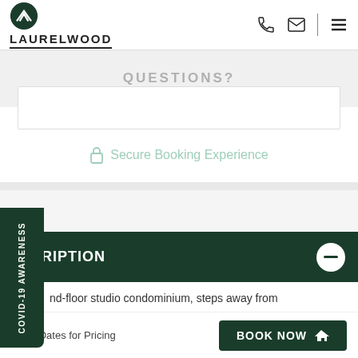[Figure (logo): Laurelwood logo with mountain icon and text LAURELWOOD]
QUESTIONS?
Secure Booking Experience
CRIPTION
nd-floor studio condominium, steps away from
vmass Ski Area & our two-tier on-site hot tubs. This
Enter Dates for Pricing
BOOK NOW